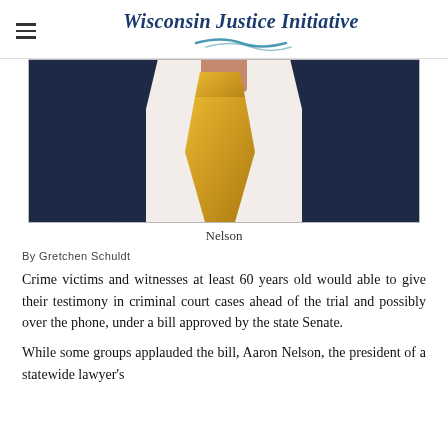Wisconsin Justice Initiative
[Figure (photo): Close-up photo of a person wearing a dark navy suit, white dress shirt, and gold/yellow tie]
Nelson
By Gretchen Schuldt
Crime victims and witnesses at least 60 years old would able to give their testimony in criminal court cases ahead of the trial and possibly over the phone, under a bill approved by the state Senate.
While some groups applauded the bill, Aaron Nelson, the president of a statewide lawyer's